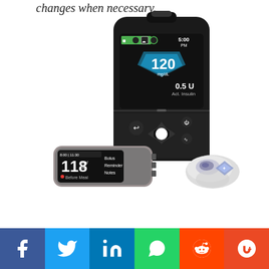changes when necessary.
[Figure (photo): Medical devices: an insulin pump with digital display showing 120 mg/dL and 0.5U Act. Insulin at 5:00 PM, a continuous glucose monitor showing 118 mg/dL Before Meal, and a CGM sensor/transmitter device]
[Figure (infographic): Social media sharing bar with Facebook, Twitter, LinkedIn, WhatsApp, Reddit, and StumbleUpon buttons]